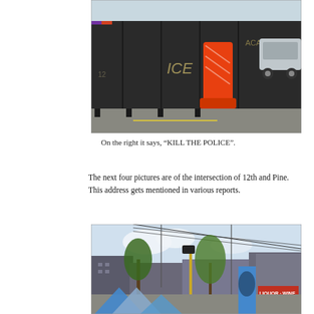[Figure (photo): Street scene showing metal barrier panels covered in graffiti including text 'ICE' and 'ACAB', with a bright orange traffic/water barrier in the center, and a silver car visible on the right side. Appears to be a protest zone barricade on a city street.]
On the right it says, “KILL THE POLICE”.
The next four pictures are of the intersection of 12th and Pine. This address gets mentioned in various reports.
[Figure (photo): Intersection street scene showing a busy urban corner with power lines, traffic lights, trees, blue and white tents in the foreground, buildings including one with a 'LIQUOR · WINE' sign, and a colorful mural partially visible on the right. Appears to be the 12th and Pine intersection in Seattle's CHOP/CHAZ zone.]